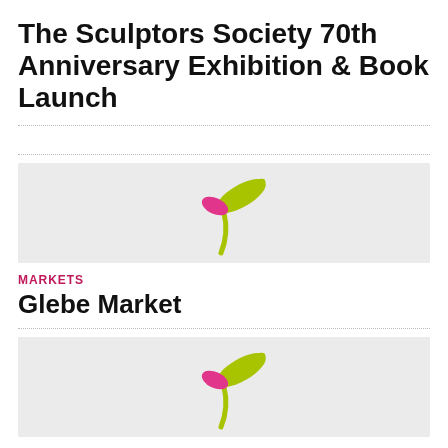The Sculptors Society 70th Anniversary Exhibition & Book Launch
[Figure (illustration): Plant/sprout logo illustration with pink and green-yellow leaves, centered in a light gray image row]
MARKETS
Glebe Market
[Figure (illustration): Plant/sprout logo illustration with pink and green-yellow leaves, centered in a light gray image row]